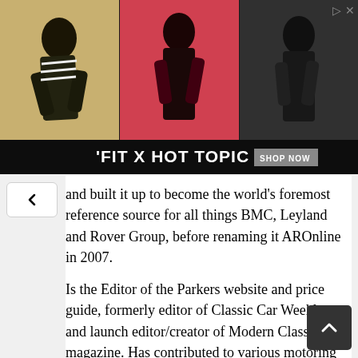[Figure (photo): Advertisement banner for 'FIT X HOT TOPIC' featuring three young people against colorful backgrounds, with a 'SHOP NOW' button and close/skip icons in the top right corner.]
and built it up to become the world's foremost reference source for all things BMC, Leyland and Rover Group, before renaming it AROnline in 2007.
Is the Editor of the Parkers website and price guide, formerly editor of Classic Car Weekly, and launch editor/creator of Modern Classics magazine. Has contributed to various motoring titles including Octane, Practical Classics, Evo, Honest John, CAR magazine, Autocar, Pistonheads, Diesel Car, Practical Performance Car, Performance French Car, Car Mechanics, Jaguar World Monthly, MG Enthusiast, Modern MINI, Practical Classics, Fifth Gear Website,